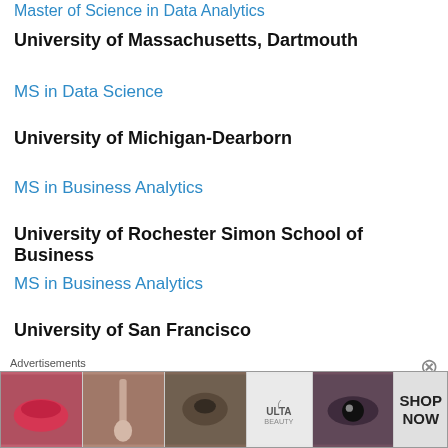Master of Science in Data Analytics
University of Massachusetts, Dartmouth
MS in Data Science
University of Michigan-Dearborn
MS in Business Analytics
University of Rochester Simon School of Business
MS in Business Analytics
University of San Francisco
M.S. in Analytics
[Figure (other): Advertisement banner with beauty/cosmetics imagery and ULTA logo with SHOP NOW text]